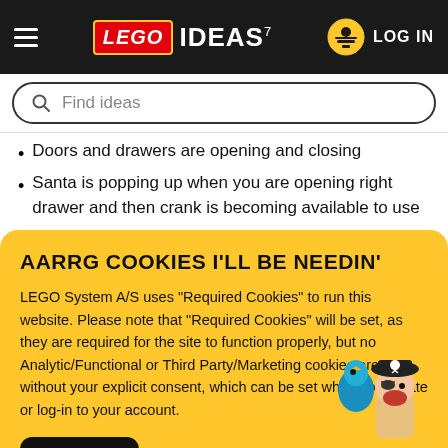LEGO IDEAS — LOG IN
Find ideas
Doors and drawers are opening and closing
Santa is popping up when you are opening right drawer and then crank is becoming available to use
AARRG COOKIES I'LL BE NEEDIN'
LEGO System A/S uses "Required Cookies" to run this website. Please note that "Required Cookies" will be set, as they are required for the site to function properly, but no Analytic/Functional or Third Party/Marketing cookies are set without your explicit consent, which can be set when you create or log-in to your account.
OK